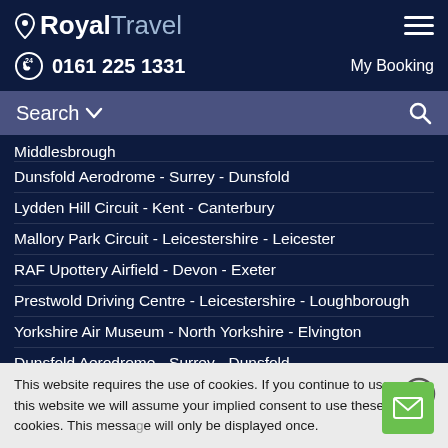Royal Travel
0161 225 1331
My Booking
Search
Middlesbrough
Dunsfold Aerodrome - Surrey - Dunsfold
Lydden Hill Circuit - Kent - Canterbury
Mallory Park Circuit - Leicestershire - Leicester
RAF Upottery Airfield - Devon - Exeter
Prestwold Driving Centre - Leicestershire - Loughborough
Yorkshire Air Museum - North Yorkshire - Elvington
Dunsfold Aerodrome - Surrey - Dunsfold
Lydden Hill Circuit - Kent - Canterbury
Prestwold Driving Centre - Leicestershire - Loughborough
This website requires the use of cookies. If you continue to use this website we will assume your implied consent to use these cookies. This message will only be displayed once.